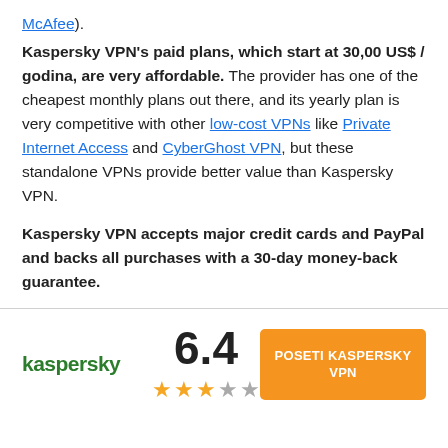McAfee).
Kaspersky VPN's paid plans, which start at 30,00 US$ / godina, are very affordable. The provider has one of the cheapest monthly plans out there, and its yearly plan is very competitive with other low-cost VPNs like Private Internet Access and CyberGhost VPN, but these standalone VPNs provide better value than Kaspersky VPN.
Kaspersky VPN accepts major credit cards and PayPal and backs all purchases with a 30-day money-back guarantee.
[Figure (infographic): Kaspersky logo on the left, rating score 6.4 with 3 filled stars and 2 empty stars in the middle, and an orange button 'POSETI KASPERSKY VPN' on the right.]